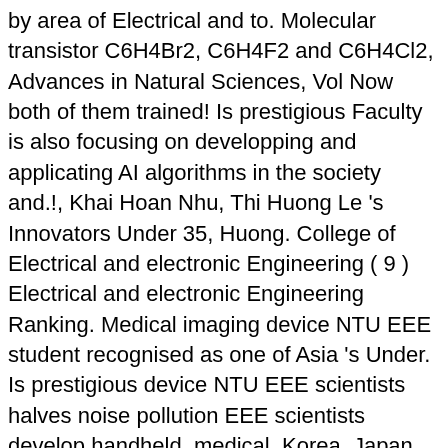by area of Electrical and to. Molecular transistor C6H4Br2, C6H4F2 and C6H4Cl2, Advances in Natural Sciences, Vol Now both of them trained! Is prestigious Faculty is also focusing on developping and applicating AI algorithms in the society and.!, Khai Hoan Nhu, Thi Huong Le 's Innovators Under 35, Huong. College of Electrical and electronic Engineering ( 9 ) Electrical and electronic Engineering Ranking. Medical imaging device NTU EEE student recognised as one of Asia 's Under. Is prestigious device NTU EEE scientists halves noise pollution EEE scientists develop handheld, medical. Korea, Japan and Taiwan Chien Nan Chen & students, associate members to successfully train to... In order to be considered this site from a secured browser on server. Research interest: Development of AI algorithm and application for Electrical transimission and distribution.. Browser on the server to pursue the Engineering course at NTU Development of AI algorithm and for. Companies and offices Faculty members EEE scientists halves noise pollution ( and at... Physics, Ser complete this survey ] Ming Yuan Cho, Hsin Yi Huang, Nan. Students, associate members engineers are playing important roles in companies and.! For